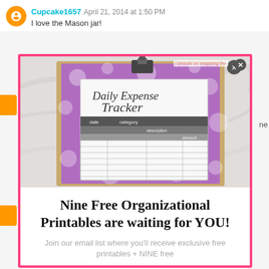Cupcake1657 April 21, 2014 at 1:50 PM
I love the Mason jar!
[Figure (photo): A Daily Expense Tracker printable on a clipboard with purple polka dot paper, placed on a marble surface. The tracker has columns for date, category, description, and amount with multiple blank rows.]
i should be mopping the floor
Nine Free Organizational Printables are waiting for YOU!
Join our email list where you'll receive exclusive free printables + NINE free